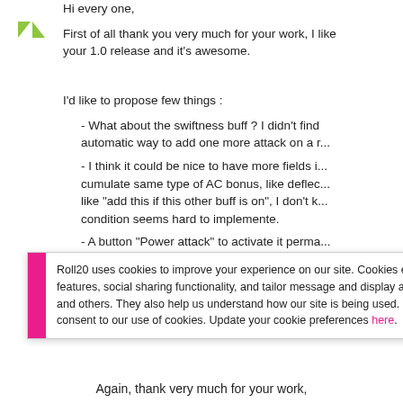Hi every one, First of all thank you very much for your work, I like your 1.0 release and it's awesome.
I'd like to propose few things :
- What about the swiftness buff ? I didn't find automatic way to add one more attack on a r...
- I think it could be nice to have more fields i... cumulate same type of AC bonus, like deflec... like "add this if this other buff is on", I don't k... condition seems hard to implemente.
- A button "Power attack" to activate it perma...
Roll20 uses cookies to improve your experience on our site. Cookies enable you to enjoy certain features, social sharing functionality, and tailor message and display ads to your interests on our site and others. They also help us understand how our site is being used. By continuing to use our site, you consent to our use of cookies. Update your cookie preferences here.
Again, thank very much for your work,